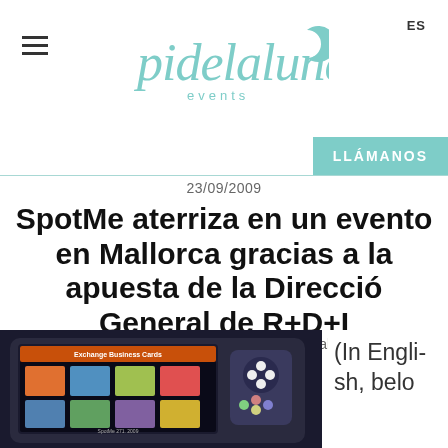pidelaluna events | ES | LLÁMANOS
23/09/2009
SpotMe aterriza en un evento en Mallorca gracias a la apuesta de la Direcció General de R+D+I
evento en Mallorca  evento Pidelaluna en Palma de Mallorca  INTO  Pidelaluna  Spotme
[Figure (photo): Photo of a SpotMe handheld event device with touchscreen showing Exchange Business Cards menu]
(In English, belo